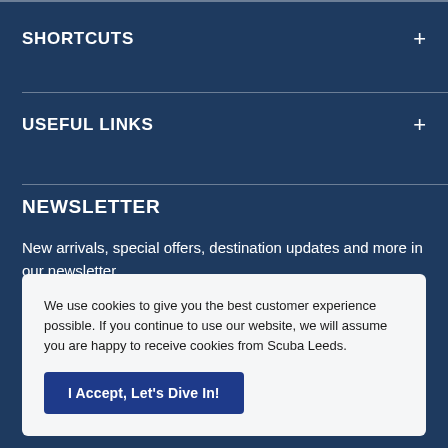SHORTCUTS
USEFUL LINKS
NEWSLETTER
New arrivals, special offers, destination updates and more in our newsletter.
We use cookies to give you the best customer experience possible. If you continue to use our website, we will assume you are happy to receive cookies from Scuba Leeds.
I Accept, Let's Dive In!